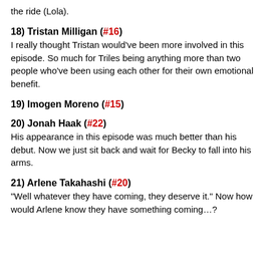the ride (Lola).
18) Tristan Milligan (#16)
I really thought Tristan would've been more involved in this episode.  So much for Triles being anything more than two people who've been using each other for their own emotional benefit.
19) Imogen Moreno (#15)
20) Jonah Haak (#22)
His appearance in this episode was much better than his debut.  Now we just sit back and wait for Becky to fall into his arms.
21) Arlene Takahashi (#20)
“Well whatever they have coming, they deserve it.”  Now how would Arlene know they have something coming…?